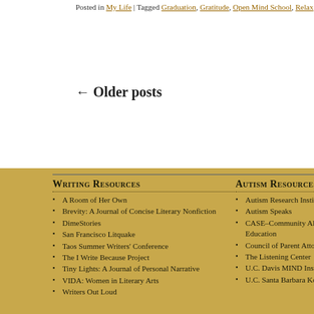Posted in My Life | Tagged Graduation, Gratitude, Open Mind School, Relax, Su…
← Older posts
Writing Resources
A Room of Her Own
Brevity: A Journal of Concise Literary Nonfiction
DimeStories
San Francisco Litquake
Taos Summer Writers' Conference
The I Write Because Project
Tiny Lights: A Journal of Personal Narrative
VIDA: Women in Literary Arts
Writers Out Loud
Autism Resources
Autism Research Institute
Autism Speaks
CASE–Community Alliance for S… Education
Council of Parent Attorneys and Advocates
The Listening Center
U.C. Davis MIND Institute
U.C. Santa Barbara Koegel Autism… Center